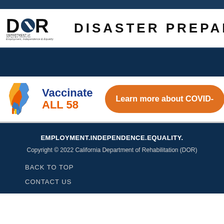[Figure (logo): DOR Department of Rehabilitation logo with text - Employment, Independence & Equality]
DISASTER PREPAREDN
[Figure (logo): Vaccinate ALL 58 logo with California state shape in multicolor]
[Figure (infographic): Orange button with text: Learn more about COVID-]
EMPLOYMENT.INDEPENDENCE.EQUALITY.
Copyright © 2022 California Department of Rehabilitation (DOR)
BACK TO TOP
CONTACT US